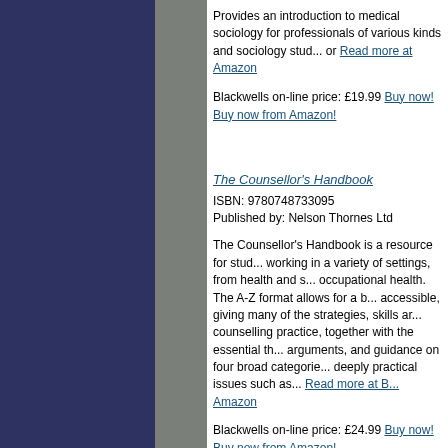Provides an introduction to medical sociology for professionals of various kinds and sociology stud... or Read more at Amazon
Blackwells on-line price: £19.99 Buy now! Buy now from Amazon!
The Counsellor's Handbook
ISBN: 9780748733095
Published by: Nelson Thornes Ltd
The Counsellor's Handbook is a resource for stud... working in a variety of settings, from health and s... occupational health. The A-Z format allows for a b... accessible, giving many of the strategies, skills ar... counselling practice, together with the essential th... arguments, and guidance on four broad categorie... deeply practical issues such as... Read more at B... Amazon
Blackwells on-line price: £24.99 Buy now! Buy now from Amazon!